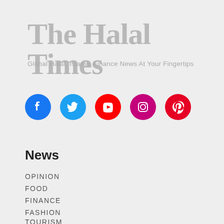The Halal Times
Global Halal, Islamic Finance News At Your Fingertips
[Figure (logo): Social media icons: Facebook (blue circle), Twitter (light blue circle), YouTube (red circle), Instagram (magenta circle), Pinterest (red circle)]
News
OPINION
FOOD
FINANCE
FASHION
TOURISM